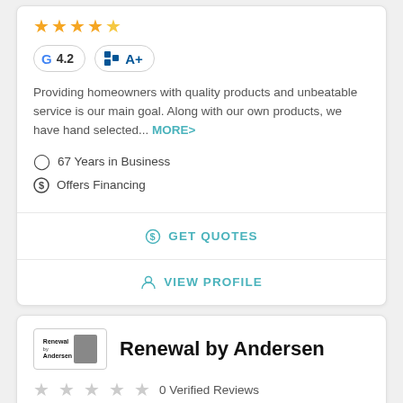[Figure (other): Five gold star rating icons]
G 4.2   A+
Providing homeowners with quality products and unbeatable service is our main goal. Along with our own products, we have hand selected... MORE>
67 Years in Business
Offers Financing
GET QUOTES
VIEW PROFILE
[Figure (logo): Renewal by Andersen logo]
Renewal by Andersen
0 Verified Reviews